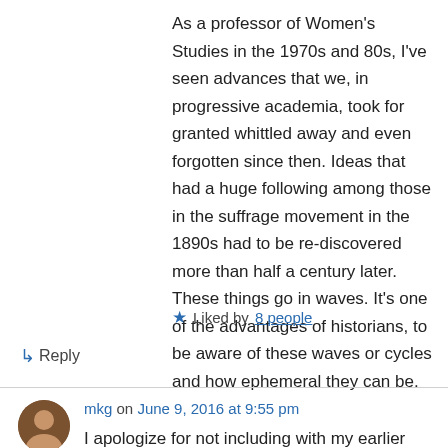As a professor of Women's Studies in the 1970s and 80s, I've seen advances that we, in progressive academia, took for granted whittled away and even forgotten since then. Ideas that had a huge following among those in the suffrage movement in the 1890s had to be re-discovered more than half a century later. These things go in waves. It's one of the advantages of historians, to be aware of these waves or cycles and how ephemeral they can be.
★ Liked by 8 people
↳ Reply
mkg on June 9, 2016 at 9:55 pm
I apologize for not including with my earlier